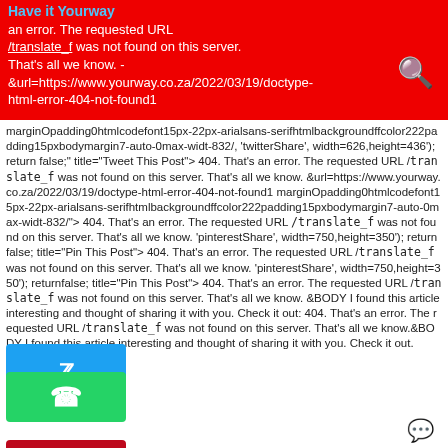an error. The requested URL /translate_f was not found on this server. That's all we know. - &url=https://www.yourway.co.za/2022/03/19/doctype-html-error-404-not-found1
marginOpadding0htmlcodefont15px-22px-arialsans-serifhtmlbackgroundffcolor222padding15pxbodymargin7-auto-0max-widt-832/ twitterShare width=626 height=436 return false; title="Tweet This Post" > 404. That's an error. The requested URL /translate_f was not found on this server. That's all we know. &url=https://www.yourway.co.za/2022/03/19/doctype-html-error-404-not-found1 marginOpadding0htmlcodefont15px-22px-arialsans-serifhtmlbackgroundffcolor222padding15pxbodymargin7-auto-0max-widt-832/ > 404. That's an error. The requested URL /translate_f was not found on this server. That's all we know. 'pinterestShare' width=750 height=350 return false; title="Pin This Post" > 404. That's an error. The requested URL /translate_f was not found on this server. That's all we know. &BODY I found this article interesting and thought of sharing it with you. Check it out: 404. That's an error. The requested URL /translate_f was not found on this server. That's all we know.
[Figure (screenshot): Twitter share button (blue bird icon)]
[Figure (screenshot): WhatsApp share button (green phone icon)]
[Figure (screenshot): Pinterest share button (red P icon)]
&BODY I found this article interesting and thought of sharing it with you. Check it out: